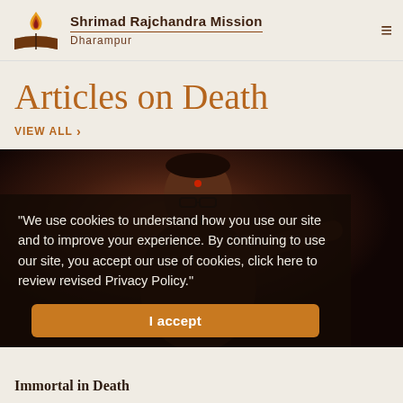Shrimad Rajchandra Mission Dharampur
Articles on Death
VIEW ALL  >
[Figure (photo): Photo of a speaker/spiritual teacher pointing, dark background, warm tones]
"We use cookies to understand how you use our site and to improve your experience. By continuing to use our site, you accept our use of cookies, click here to review revised Privacy Policy."
I accept
Immortal in Death